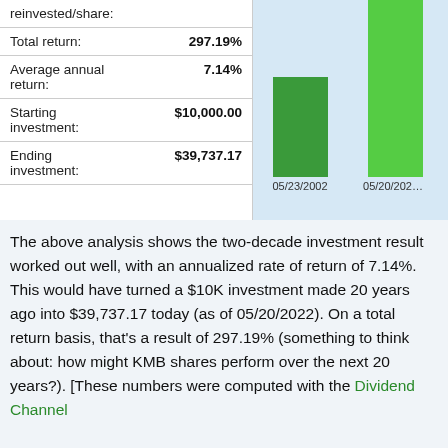|  |  |
| --- | --- |
| reinvested/share: |  |
| Total return: | 297.19% |
| Average annual return: | 7.14% |
| Starting investment: | $10,000.00 |
| Ending investment: | $39,737.17 |
[Figure (bar-chart): Investment value over time]
The above analysis shows the two-decade investment result worked out well, with an annualized rate of return of 7.14%. This would have turned a $10K investment made 20 years ago into $39,737.17 today (as of 05/20/2022). On a total return basis, that's a result of 297.19% (something to think about: how might KMB shares perform over the next 20 years?). [These numbers were computed with the Dividend Channel